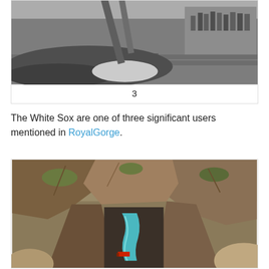[Figure (photo): Black and white historical photograph showing people standing near railroad tracks, partially cropped at top]
3
The White Sox are one of three significant users mentioned in RoyalGorge.
[Figure (photo): Aerial color photograph of Royal Gorge showing a narrow canyon with turquoise river, rocky red canyon walls, and a train visible at the bottom of the gorge]